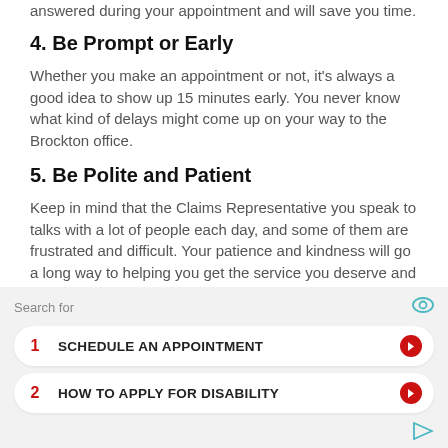answered during your appointment and will save you time.
4. Be Prompt or Early
Whether you make an appointment or not, it's always a good idea to show up 15 minutes early. You never know what kind of delays might come up on your way to the Brockton office.
5. Be Polite and Patient
Keep in mind that the Claims Representative you speak to talks with a lot of people each day, and some of them are frustrated and difficult. Your patience and kindness will go a long way to helping you get the service you deserve and getting all your questions answered.
[Figure (screenshot): Search widget overlay with two search result items: 1. SCHEDULE AN APPOINTMENT, 2. HOW TO APPLY FOR DISABILITY, with a search bar labeled 'Search for' and a teal eye icon, and a teal play icon at the bottom right.]